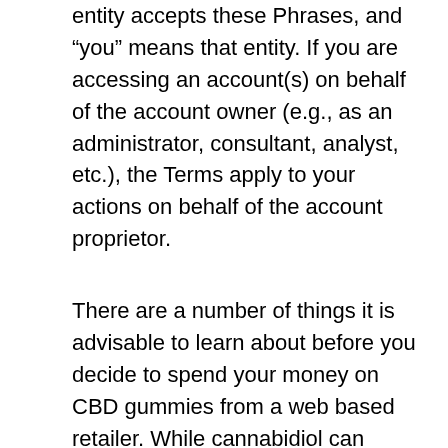entity accepts these Phrases, and "you" means that entity. If you are accessing an account(s) on behalf of the account owner (e.g., as an administrator, consultant, analyst, etc.), the Terms apply to your actions on behalf of the account proprietor.
There are a number of things it is advisable to learn about before you decide to spend your money on CBD gummies from a web based retailer. While cannabidiol can critically enhance the standard of your life , no two CBD products Cannabis Oil Michigan are the identical. In November 2018, voters in Michigan passed a marijuana legalization invoice that made it attainable for adults aged 21 and over to purchase and possess up to 2.5 ounces of weed when away from house. Possession limits within one's property are elevated to 10 ounces. Residents of the state may develop as much as 12 vegetation per household.